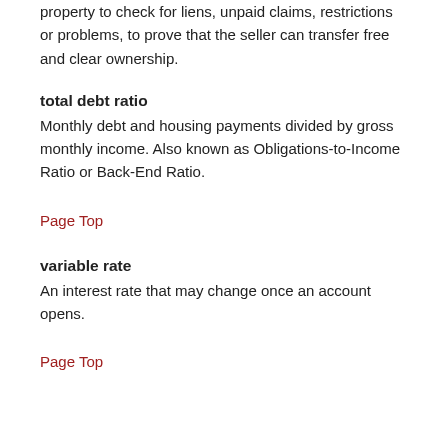property to check for liens, unpaid claims, restrictions or problems, to prove that the seller can transfer free and clear ownership.
total debt ratio
Monthly debt and housing payments divided by gross monthly income. Also known as Obligations-to-Income Ratio or Back-End Ratio.
Page Top
variable rate
An interest rate that may change once an account opens.
Page Top